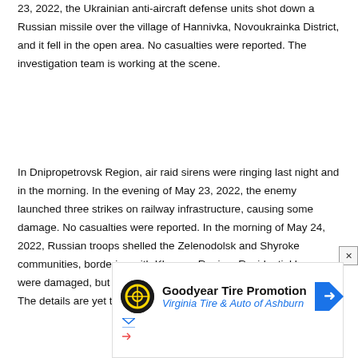23, 2022, the Ukrainian anti-aircraft defense units shot down a Russian missile over the village of Hannivka, Novoukrainka District, and it fell in the open area. No casualties were reported. The investigation team is working at the scene.
In Dnipropetrovsk Region, air raid sirens were ringing last night and in the morning. In the evening of May 23, 2022, the enemy launched three strikes on railway infrastructure, causing some damage. No casualties were reported. In the morning of May 24, 2022, Russian troops shelled the Zelenodolsk and Shyroke communities, bordering with Kherson Region. Residential houses were damaged, but no casualties among civilians were reported. The details are yet to be updated.
[Figure (other): Advertisement for Goodyear Tire Promotion at Virginia Tire & Auto of Ashburn, with logo, text, and navigation arrow icon]